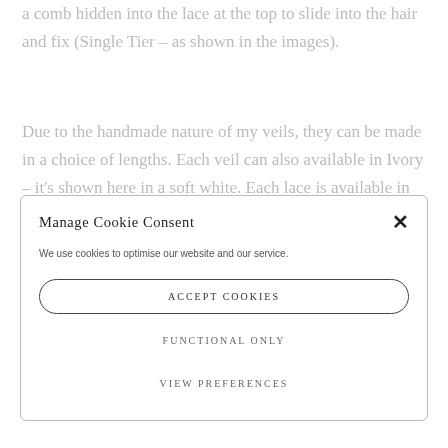a comb hidden into the lace at the top to slide into the hair and fix (Single Tier – as shown in the images).
Due to the handmade nature of my veils, they can be made in a choice of lengths. Each veil can also available in Ivory – it's shown here in a soft white. Each lace is available in limited
Manage Cookie Consent
We use cookies to optimise our website and our service.
ACCEPT COOKIES
FUNCTIONAL ONLY
VIEW PREFERENCES